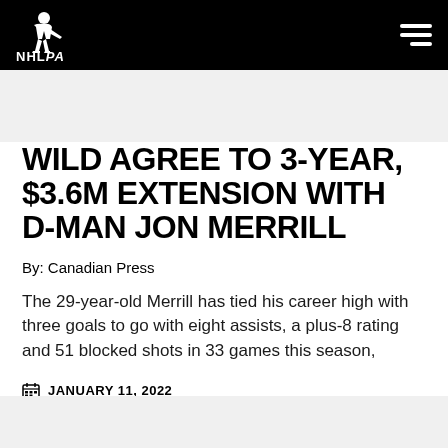NHLPA
WILD AGREE TO 3-YEAR, $3.6M EXTENSION WITH D-MAN JON MERRILL
By: Canadian Press
The 29-year-old Merrill has tied his career high with three goals to go with eight assists, a plus-8 rating and 51 blocked shots in 33 games this season,
JANUARY 11, 2022